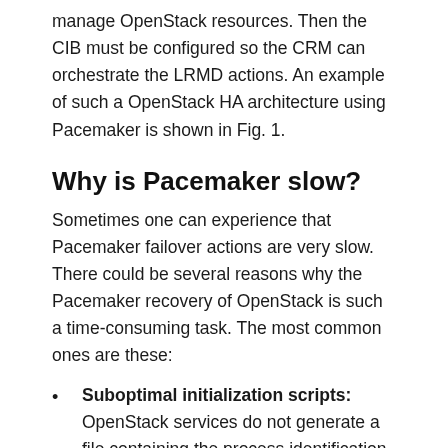manage OpenStack resources. Then the CIB must be configured so the CRM can orchestrate the LRMD actions. An example of such a OpenStack HA architecture using Pacemaker is shown in Fig. 1.
Why is Pacemaker slow?
Sometimes one can experience that Pacemaker failover actions are very slow. There could be several reasons why the Pacemaker recovery of OpenStack is such a time-consuming task. The most common ones are these:
Suboptimal initialization scripts: OpenStack services do not generate a file containing the process identification (pid) in a pid file per default. Therefore Pacemaker is not able to identify OpenStack services as manageable entities or resources. Some hacking is